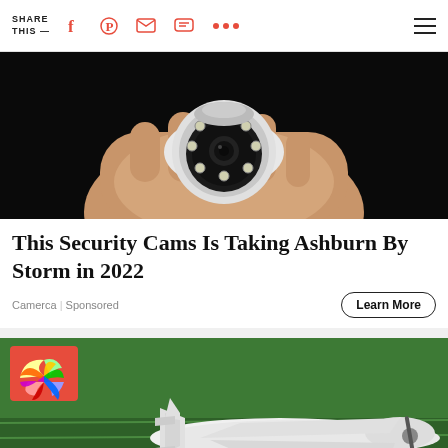SHARE THIS —
[Figure (photo): Hand holding a white security camera with IR LEDs on black background]
This Security Cams Is Taking Ashburn By Storm in 2022
Camerca | Sponsored
[Figure (photo): Crashed or landed small white plane on green grass with NBC News logo overlay in top left corner]